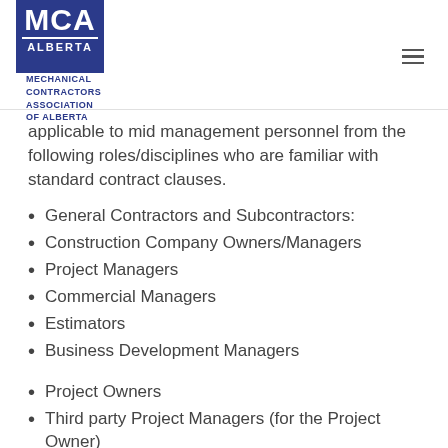[Figure (logo): MCA Alberta - Mechanical Contractors Association of Alberta logo]
applicable to mid management personnel from the following roles/disciplines who are familiar with standard contract clauses.
General Contractors and Subcontractors:
Construction Company Owners/Managers
Project Managers
Commercial Managers
Estimators
Business Development Managers
Project Owners
Third party Project Managers (for the Project Owner)
Architects and Engineers
Bonding and Insurance specialists
Lawyers